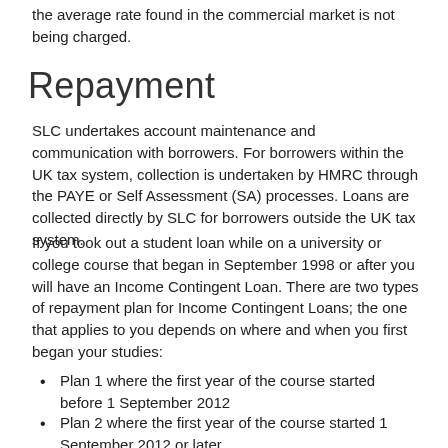the average rate found in the commercial market is not being charged.
Repayment
SLC undertakes account maintenance and communication with borrowers. For borrowers within the UK tax system, collection is undertaken by HMRC through the PAYE or Self Assessment (SA) processes. Loans are collected directly by SLC for borrowers outside the UK tax system.
If you took out a student loan while on a university or college course that began in September 1998 or after you will have an Income Contingent Loan. There are two types of repayment plan for Income Contingent Loans; the one that applies to you depends on where and when you first began your studies:
Plan 1 where the first year of the course started before 1 September 2012
Plan 2 where the first year of the course started 1 September 2012 or later